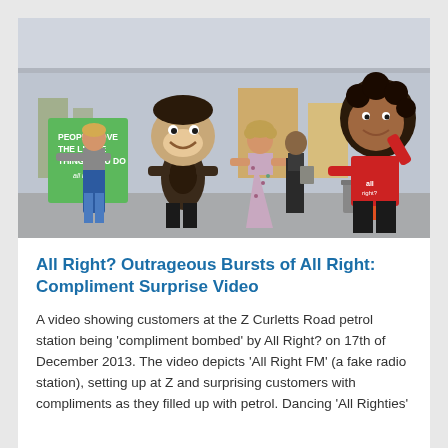[Figure (photo): Photo showing people at a petrol station under a canopy. On the left, a woman in jeans holds a large green sign reading 'PEOPLE LOVE THE LITTLE THINGS YOU DO all right?'. Next to her is a person in a large cartoon monkey/character mascot costume wearing a dark shirt. In the center is a woman in a floral dress. On the right is a large-headed character mascot in a red shirt with black pants, appearing to dance.]
All Right? Outrageous Bursts of All Right: Compliment Surprise Video
A video showing customers at the Z Curletts Road petrol station being 'compliment bombed' by All Right? on 17th of December 2013. The video depicts 'All Right FM' (a fake radio station), setting up at Z and surprising customers with compliments as they filled up with petrol. Dancing 'All Righties'